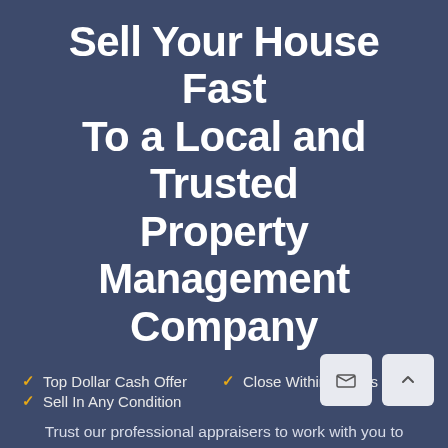Sell Your House Fast To a Local and Trusted Property Management Company
Top Dollar Cash Offer
Close Within 7 Days
Sell In Any Condition
Trust our professional appraisers to work with you to assess your home or property and give you a quote at a competitive price.
Enjoy a seamless process, free from real estate and negotiations and last minute cancellations